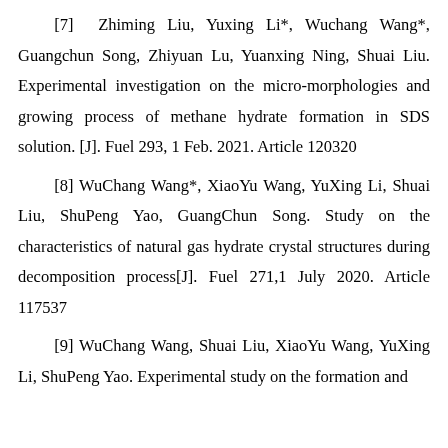[7] Zhiming Liu, Yuxing Li*, Wuchang Wang*, Guangchun Song, Zhiyuan Lu, Yuanxing Ning, Shuai Liu. Experimental investigation on the micro-morphologies and growing process of methane hydrate formation in SDS solution. [J]. Fuel 293, 1 Feb. 2021. Article 120320
[8] WuChang Wang*, XiaoYu Wang, YuXing Li, Shuai Liu, ShuPeng Yao, GuangChun Song. Study on the characteristics of natural gas hydrate crystal structures during decomposition process[J]. Fuel 271,1 July 2020. Article 117537
[9] WuChang Wang, Shuai Liu, XiaoYu Wang, YuXing Li, ShuPeng Yao. Experimental study on the formation and